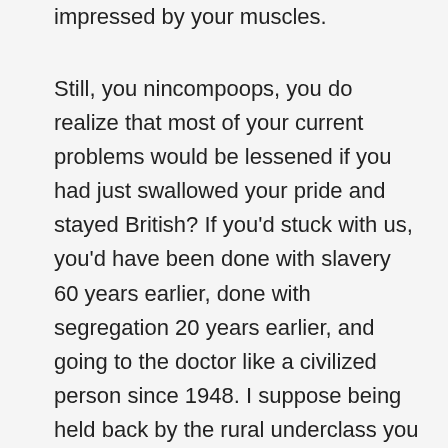impressed by your muscles.
Still, you nincompoops, you do realize that most of your current problems would be lessened if you had just swallowed your pride and stayed British? If you'd stuck with us, you'd have been done with slavery 60 years earlier, done with segregation 20 years earlier, and going to the doctor like a civilized person since 1948. I suppose being held back by the rural underclass you taught to be racist and kept in poverty is a long-running theme here. Have you considered sending them to Australia?